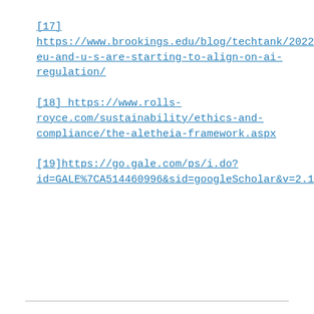[17] https://www.brookings.edu/blog/techtank/2022/02/01/the-eu-and-u-s-are-starting-to-align-on-ai-regulation/
[18] https://www.rolls-royce.com/sustainability/ethics-and-compliance/the-aletheia-framework.aspx
[19]https://go.gale.com/ps/i.do?id=GALE%7CA514460996&sid=googleScholar&v=2.1&it=r&linkaccess=abs&issn=10415548&p=AONE&sw=w&userGroupName=anon%7E138c97cd